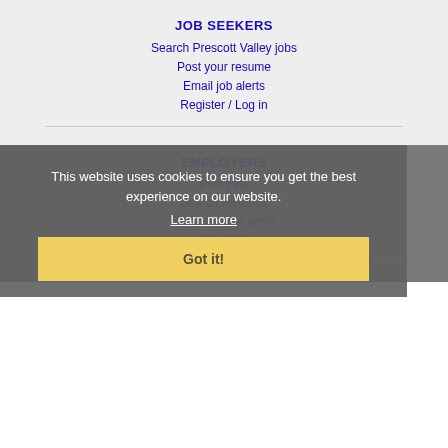JOB SEEKERS
Search Prescott Valley jobs
Post your resume
Email job alerts
Register / Log in
EMPLOYERS
Post jobs
Search resumes
Email resume alerts
Advertise
This website uses cookies to ensure you get the best experience on our website.
Learn more
Got it!
IMMIGRATION SPECIALISTS